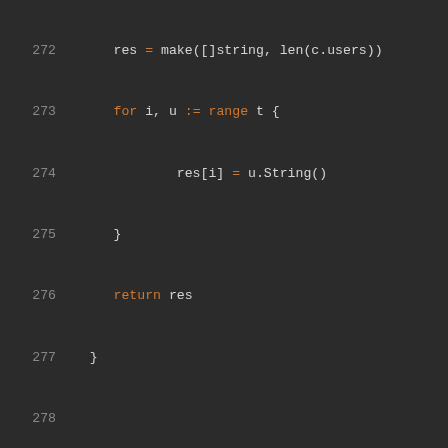[Figure (screenshot): Go source code snippet showing lines 272-293, including functions userIndex and AddUser on a Channel type, displayed in a dark-themed code editor.]